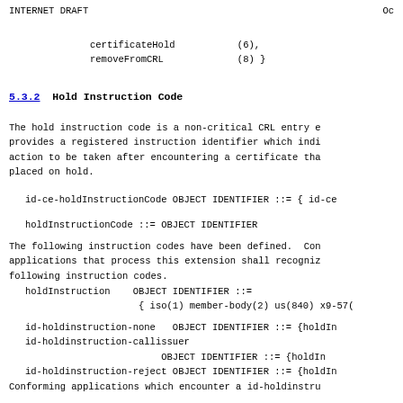INTERNET DRAFT                                                        Oc
certificateHold           (6),
    removeFromCRL             (8) }
5.3.2  Hold Instruction Code
The hold instruction code is a non-critical CRL entry e
   provides a registered instruction identifier which indi
   action to be taken after encountering a certificate tha
   placed on hold.
id-ce-holdInstructionCode OBJECT IDENTIFIER ::= { id-ce
holdInstructionCode ::= OBJECT IDENTIFIER
The following instruction codes have been defined.  Con
   applications that process this extension shall recogniz
   following instruction codes.
holdInstruction    OBJECT IDENTIFIER ::=
                        { iso(1) member-body(2) us(840) x9-57(
id-holdinstruction-none   OBJECT IDENTIFIER ::= {holdIn
   id-holdinstruction-callissuer
                            OBJECT IDENTIFIER ::= {holdIn
   id-holdinstruction-reject OBJECT IDENTIFIER ::= {holdIn
Conforming applications which encounter a id-holdinstru